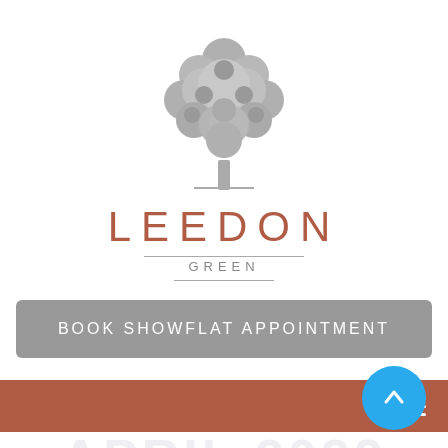[Figure (logo): Leedon Green logo with a stylized grey tree above the brand name LEEDON in terracotta/rust color and GREEN in grey small caps, with horizontal divider lines above and below GREEN]
BOOK SHOWFLAT APPOINTMENT
[Figure (other): Terracotta/rust colored navigation bar with a white hamburger menu icon on the right]
APRIL 2022
[Figure (other): Blue circular scroll-to-top button with upward arrow]